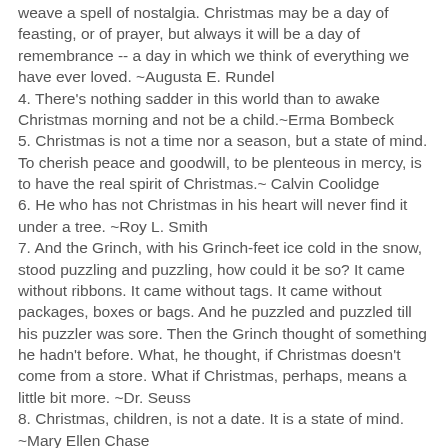weave a spell of nostalgia. Christmas may be a day of feasting, or of prayer, but always it will be a day of remembrance -- a day in which we think of everything we have ever loved. ~Augusta E. Rundel
4. There's nothing sadder in this world than to awake Christmas morning and not be a child.~Erma Bombeck
5. Christmas is not a time nor a season, but a state of mind. To cherish peace and goodwill, to be plenteous in mercy, is to have the real spirit of Christmas.~ Calvin Coolidge
6. He who has not Christmas in his heart will never find it under a tree. ~Roy L. Smith
7. And the Grinch, with his Grinch-feet ice cold in the snow, stood puzzling and puzzling, how could it be so? It came without ribbons. It came without tags. It came without packages, boxes or bags. And he puzzled and puzzled till his puzzler was sore. Then the Grinch thought of something he hadn't before. What, he thought, if Christmas doesn't come from a store. What if Christmas, perhaps, means a little bit more. ~Dr. Seuss
8. Christmas, children, is not a date. It is a state of mind. ~Mary Ellen Chase
9. Our hearts grow tender with childhood memories and love